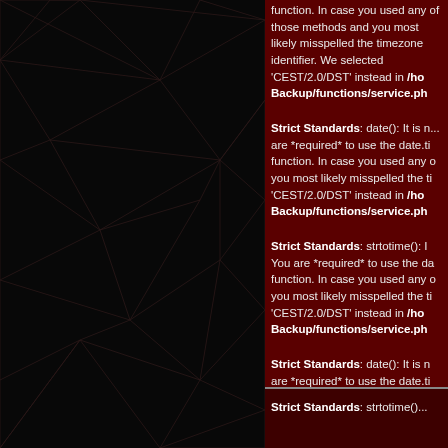[Figure (illustration): Dark geometric triangular mesh/wireframe pattern on black background, left panel]
function. In case you used any of those methods and you most likely misspelled the timezone identifier. We selected 'CEST/2.0/DST' instead in /ho... Backup/functions/service.ph...
Strict Standards: date(): It is not safe to rely on the system's timezone settings. You are *required* to use the date.timezone setting or the date_default_timezone_set() function. In case you used any of those methods and you most likely misspelled the timezone identifier. We selected 'CEST/2.0/DST' instead in /ho... Backup/functions/service.ph...
Strict Standards: strtotime(): It is not safe to rely on the system's timezone settings. You are *required* to use the date.timezone setting or the date_default_timezone_set() function. In case you used any of those methods and you most likely misspelled the timezone identifier. We selected 'CEST/2.0/DST' instead in /ho... Backup/functions/service.ph...
Strict Standards: date(): It is not safe to rely on the system's timezone settings. You are *required* to use the date.timezone setting or the date_default_timezone_set() function. In case you used any of those methods and you most likely misspelled the timezone identifier. We selected 'CEST/2.0/DST' instead in /ho... Backup/functions/service.ph... 18 January 2018
more info
Strict Standards: strtotime()...